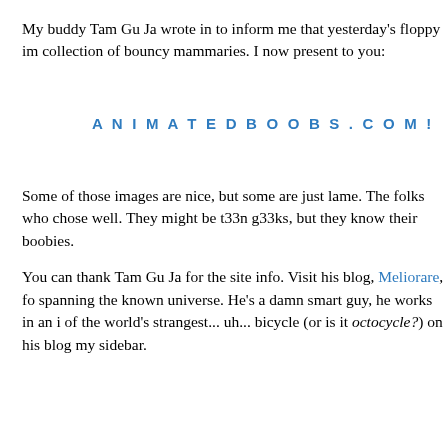My buddy Tam Gu Ja wrote in to inform me that yesterday's floppy im collection of bouncy mammaries. I now present to you:
ANIMATEDBOOBS.COM!
Some of those images are nice, but some are just lame. The folks who chose well. They might be t33n g33ks, but they know their boobies.
You can thank Tam Gu Ja for the site info. Visit his blog, Meliorare, fo spanning the known universe. He's a damn smart guy, he works in an i of the world's strangest... uh... bicycle (or is it octocycle?) on his blog my sidebar.